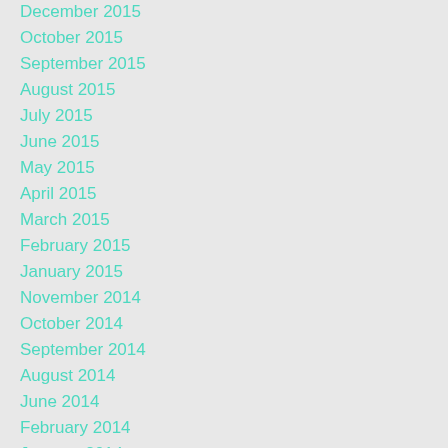December 2015
October 2015
September 2015
August 2015
July 2015
June 2015
May 2015
April 2015
March 2015
February 2015
January 2015
November 2014
October 2014
September 2014
August 2014
June 2014
February 2014
January 2014
Categories